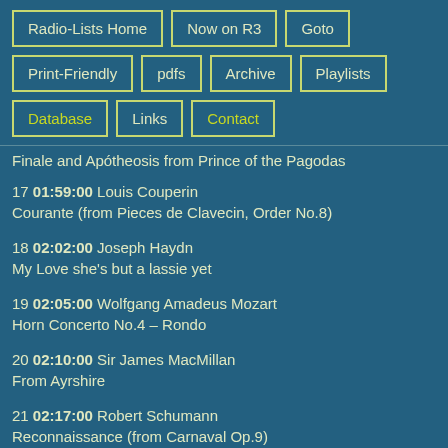Radio-Lists Home
Now on R3
Goto
Print-Friendly
pdfs
Archive
Playlists
Database
Links
Contact
Finale and Apotheosis from Prince of the Pagodas
17 01:59:00 Louis Couperin
Courante (from Pieces de Clavecin, Order No.8)
18 02:02:00 Joseph Haydn
My Love she's but a lassie yet
19 02:05:00 Wolfgang Amadeus Mozart
Horn Concerto No.4 – Rondo
20 02:10:00 Sir James MacMillan
From Ayrshire
21 02:17:00 Robert Schumann
Reconnaissance (from Carnaval Op.9)